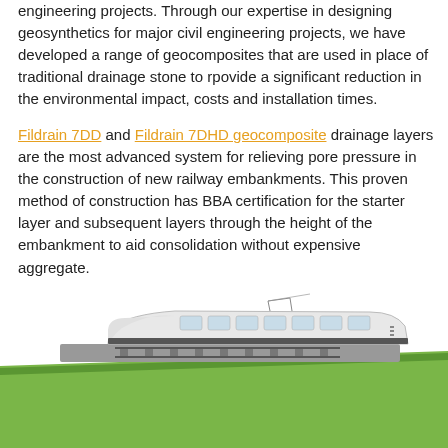engineering projects. Through our expertise in designing geosynthetics for major civil engineering projects, we have developed a range of geocomposites that are used in place of traditional drainage stone to rpovide a significant reduction in the environmental impact, costs and installation times.
Fildrain 7DD and Fildrain 7DHD geocomposite drainage layers are the most advanced system for relieving pore pressure in the construction of new railway embankments. This proven method of construction has BBA certification for the starter layer and subsequent layers through the height of the embankment to aid consolidation without expensive aggregate.
[Figure (illustration): A model or illustration of a modern train (white high-speed train) on a railway embankment covered with green geosynthetic/grass material, showing the layered construction.]